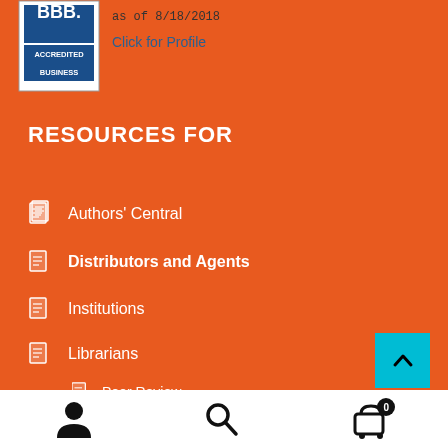[Figure (logo): BBB Accredited Business seal/badge]
as of 8/18/2018
Click for Profile
RESOURCES FOR
Authors' Central
Distributors and Agents
Institutions
Librarians
Peer Review
Permissions
[Figure (infographic): Back to top button (teal/cyan arrow up)]
[Figure (infographic): Bottom navigation bar with user icon, search icon, and cart icon with badge 0]